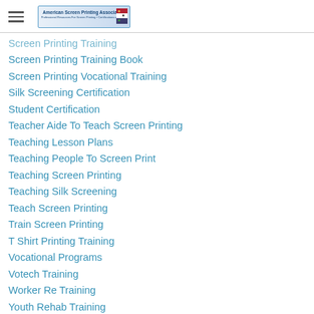American Screen Printing Association
Screen Printing Training
Screen Printing Training Book
Screen Printing Vocational Training
Silk Screening Certification
Student Certification
Teacher Aide To Teach Screen Printing
Teaching Lesson Plans
Teaching People To Screen Print
Teaching Screen Printing
Teaching Silk Screening
Teach Screen Printing
Train Screen Printing
T Shirt Printing Training
Vocational Programs
Votech Training
Worker Re Training
Youth Rehab Training